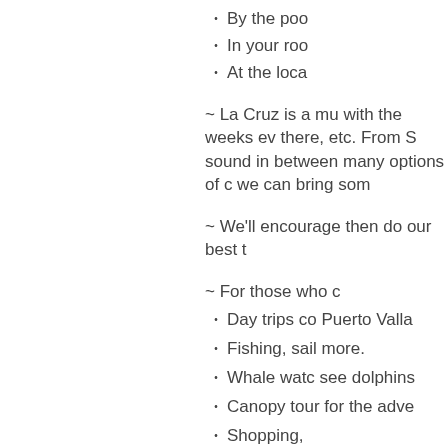By the poo
In your roo
At the loca
~ La Cruz is a mu with the weeks ev there, etc. From S sound in between many options of c we can bring som
~ We'll encourage then do our best t
~ For those who c
Day trips co Puerto Valla
Fishing, sail more.
Whale watc see dolphins
Canopy tour for the adve
Shopping,